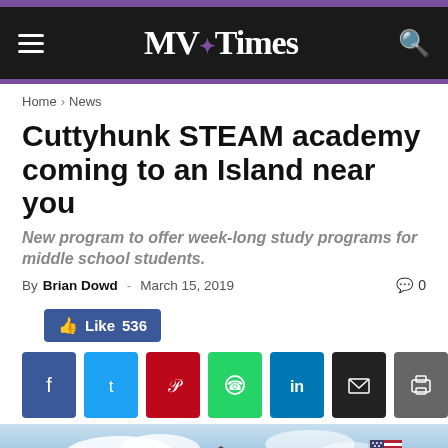MV Times
Home › News
Cuttyhunk STEAM academy coming to an Island near you
New program to offer week-long study programs for middle school students.
By Brian Dowd - March 15, 2019  0
[Figure (screenshot): Facebook Like button showing 536 likes, followed by social sharing buttons for Facebook, Twitter, Pinterest, WhatsApp, LinkedIn, Email, and Print]
[Figure (photo): Photo of a building with a bell tower/cupola against a cloudy sky, with an American flag on a pole to the right]